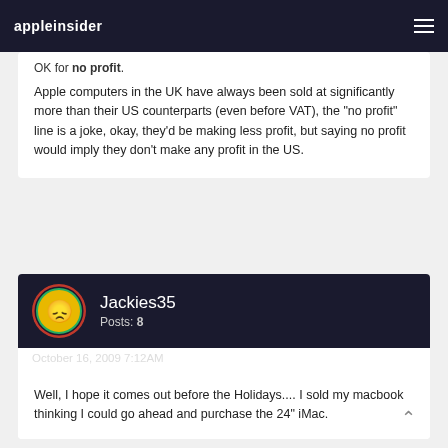appleinsider
OK for no profit.
Apple computers in the UK have always been sold at significantly more than their US counterparts (even before VAT), the "no profit" line is a joke, okay, they'd be making less profit, but saying no profit would imply they don't make any profit in the US.
Jackies35
Posts: 8
October 16, 2009 7:12AM
Well, I hope it comes out before the Holidays.... I sold my macbook thinking I could go ahead and purchase the 24" iMac.